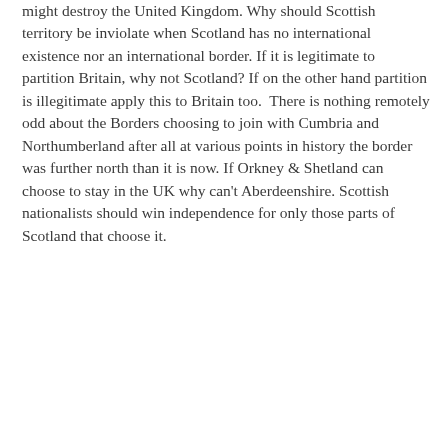might destroy the United Kingdom. Why should Scottish territory be inviolate when Scotland has no international existence nor an international border. If it is legitimate to partition Britain, why not Scotland? If on the other hand partition is illegitimate apply this to Britain too.  There is nothing remotely odd about the Borders choosing to join with Cumbria and Northumberland after all at various points in history the border was further north than it is now. If Orkney & Shetland can choose to stay in the UK why can't Aberdeenshire. Scottish nationalists should win independence for only those parts of Scotland that choose it.